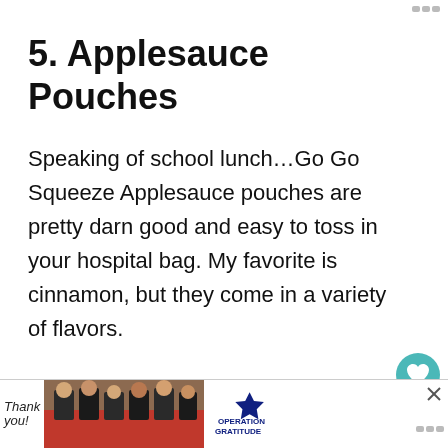5. Applesauce Pouches
Speaking of school lunch…Go Go Squeeze Applesauce pouches are pretty darn good and easy to toss in your hospital bag. My favorite is cinnamon, but they come in a variety of flavors.
They taste much better chilled, so keep th in the fridge until you need them.
[Figure (screenshot): Heart (like) button with teal background, like count '54', and share icon on the right side of the page]
[Figure (screenshot): What's Next widget showing Dad's Hospital Bag: 25... with a small thumbnail image]
6. Trim Healthy Mama
[Figure (screenshot): Advertisement banner at the bottom with 'Thank you!' text, firefighters photo, and Operation Gratitude logo with a close button]